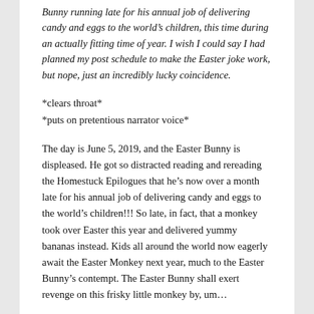Bunny running late for his annual job of delivering candy and eggs to the world's children, this time during an actually fitting time of year. I wish I could say I had planned my post schedule to make the Easter joke work, but nope, just an incredibly lucky coincidence.
*clears throat*
*puts on pretentious narrator voice*
The day is June 5, 2019, and the Easter Bunny is displeased. He got so distracted reading and rereading the Homestuck Epilogues that he's now over a month late for his annual job of delivering candy and eggs to the world's children!!! So late, in fact, that a monkey took over Easter this year and delivered yummy bananas instead. Kids all around the world now eagerly await the Easter Monkey next year, much to the Easter Bunny's contempt. The Easter Bunny shall exert revenge on this frisky little monkey by, um...
by...